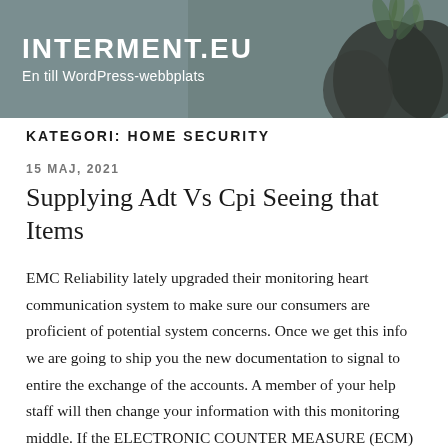INTERMENT.EU
En till WordPress-webbplats
KATEGORI: HOME SECURITY
15 MAJ, 2021
Supplying Adt Vs Cpi Seeing that Items
EMC Reliability lately upgraded their monitoring heart communication system to make sure our consumers are proficient of potential system concerns. Once we get this info we are going to ship you the new documentation to signal to entire the exchange of the accounts. A member of your help staff will then change your information with this monitoring middle. If the ELECTRONIC COUNTER MEASURE (ECM) Security bill